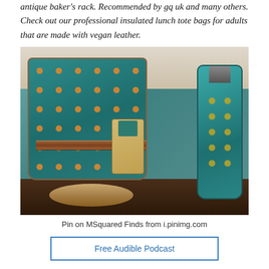antique baker's rack. Recommended by gq uk and many others. Check out our professional insulated lunch tote bags for adults that are made with vegan leather.
[Figure (photo): A teal and orange geometric-patterned insulated tote bag with brown leather trim, sitting on a wooden slice, next to a matching teal water bottle with a carabiner cap. A product tag hangs from the bag. The scene is on a dark wood floor with a light wall behind.]
Pin on MSquared Finds from i.pinimg.com
Free Audible Podcast